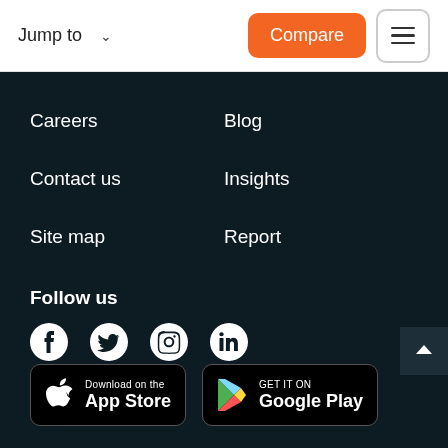Jump to  Compare
Careers
Blog
Contact us
Insights
Site map
Report
Follow us
[Figure (infographic): Social media icons: Facebook, Twitter, Instagram, LinkedIn]
[Figure (infographic): Download on the App Store and Get it on Google Play badges]